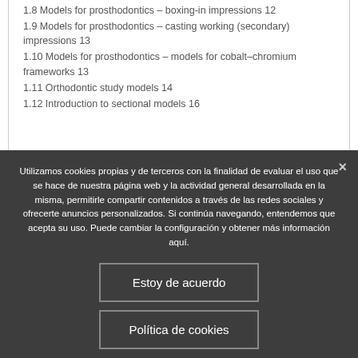1.8 Models for prosthodontics – boxing-in impressions 12
1.9 Models for prosthodontics – casting working (secondary) impressions 13
1.10 Models for prosthodontics – models for cobalt–chromium frameworks 13
1.11 Orthodontic study models 14
1.12 Introduction to sectional models 16
Utilizamos cookies propias y de terceros con la finalidad de evaluar el uso que se hace de nuestra página web y la actividad general desarrollada en la misma, permitirle compartir contenidos a través de las redes sociales y ofrecerte anuncios personalizados. Si continúa navegando, entendemos que acepta su uso. Puede cambiar la configuración y obtener más información aquí.
Estoy de acuerdo
Política de cookies